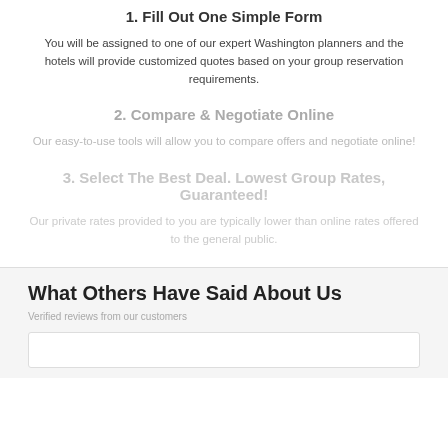1. Fill Out One Simple Form
You will be assigned to one of our expert Washington planners and the hotels will provide customized quotes based on your group reservation requirements.
2. Compare & Negotiate Online
Our easy-to-use tools will allow you to compare offers and negotiate online!
3. Select The Best Deal. Lowest Group Rates, Guaranteed!
Our private rates provided to you are typically lower than online rates offered to the general public.
What Others Have Said About Us